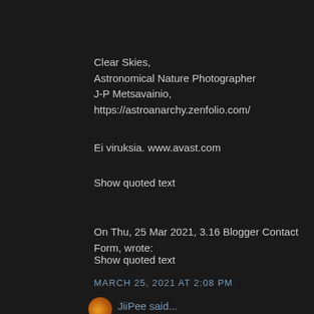Clear Skies,
Astronomical Nature Photographer
J-P Metsavainio, https://astroanarchy.zenfolio.com/
Ei viruksia. www.avast.com
Show quoted text
On Thu, 25 Mar 2021, 3.16 Blogger Contact Form, wrote:
Show quoted text
MARCH 25, 2021 AT 2:08 PM
JiiPee said...